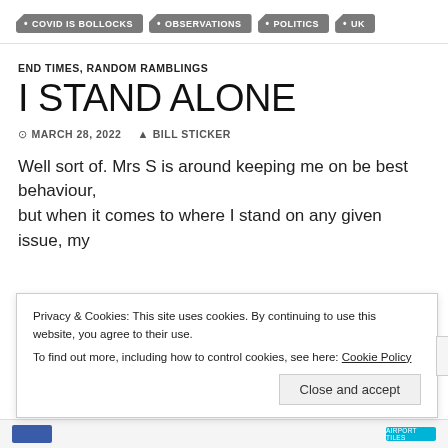COVID IS BOLLOCKS | OBSERVATIONS | POLITICS | UK
END TIMES, RANDOM RAMBLINGS
I STAND ALONE
MARCH 28, 2022   BILL STICKER
Well sort of. Mrs S is around keeping me on be best behaviour, but when it comes to where I stand on any given issue, my
Privacy & Cookies: This site uses cookies. By continuing to use this website, you agree to their use.
To find out more, including how to control cookies, see here: Cookie Policy
Close and accept